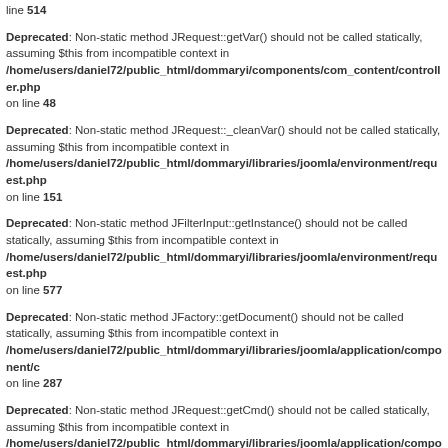line 514
Deprecated: Non-static method JRequest::getVar() should not be called statically, assuming $this from incompatible context in /home/users/daniel72/public_html/dommaryi/components/com_content/controller.php on line 48
Deprecated: Non-static method JRequest::_cleanVar() should not be called statically, assuming $this from incompatible context in /home/users/daniel72/public_html/dommaryi/libraries/joomla/environment/request.php on line 151
Deprecated: Non-static method JFilterInput::getInstance() should not be called statically, assuming $this from incompatible context in /home/users/daniel72/public_html/dommaryi/libraries/joomla/environment/request.php on line 577
Deprecated: Non-static method JFactory::getDocument() should not be called statically, assuming $this from incompatible context in /home/users/daniel72/public_html/dommaryi/libraries/joomla/application/component/c on line 287
Deprecated: Non-static method JRequest::getCmd() should not be called statically, assuming $this from incompatible context in /home/users/daniel72/public_html/dommaryi/libraries/joomla/application/component/c on line 290
Deprecated: Non-static method JRequest::getVar() should not be called statically, assuming $this from incompatible context in /home/users/daniel72/public_html/dommaryi/libraries/joomla/environment/request.php on line 255